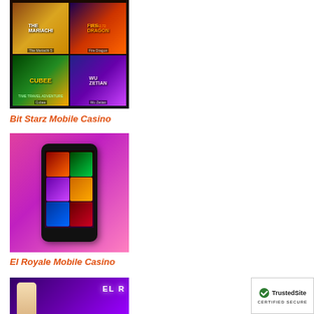[Figure (screenshot): Bit Starz Mobile Casino screenshot showing a 2x2 grid of casino games: The Mariachi 5, Fire Dragon, Cubee (Time Travel Adventure), Wu Zetian]
Bit Starz Mobile Casino
[Figure (photo): El Royale Mobile Casino photo showing a hand holding a smartphone displaying various casino slot games on a pink/purple background]
El Royale Mobile Casino
[Figure (screenshot): El Royale Casino screenshot showing a suited figure against a purple background with 'EL R' text visible]
[Figure (logo): TrustedSite Certified Secure badge in bottom right corner]